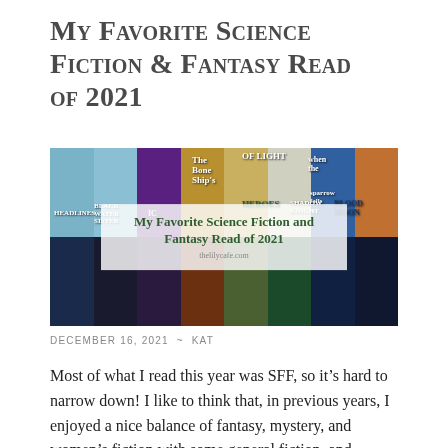My Favorite Science Fiction & Fantasy Read of 2021
[Figure (photo): A collage of science fiction and fantasy book covers with a semi-transparent white banner overlay reading 'My Favorite Science Fiction and Fantasy Read of 2021' and URL 'thelilycafe.com']
DECEMBER 16, 2021 ~ KAT
Most of what I read this year was SFF, so it’s hard to narrow down! I like to think that, in previous years, I enjoyed a nice balance of fantasy, mystery, and women’s fiction with some general fiction, and